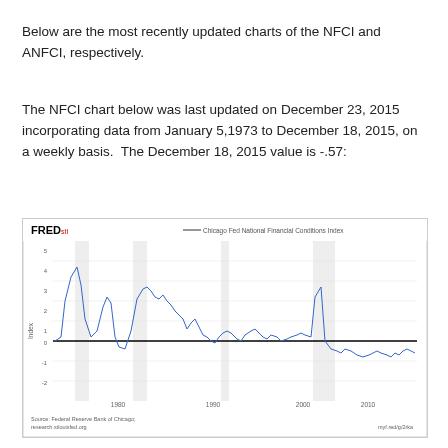Below are the most recently updated charts of the NFCI and ANFCI, respectively.
The NFCI chart below was last updated on December 23, 2015 incorporating data from January 5,1973 to December 18, 2015, on a weekly basis.  The December 18, 2015 value is -.57:
[Figure (continuous-plot): FRED chart of Chicago Fed National Financial Conditions Index from 1973 to 2015, showing a line plot with notable spikes in early periods and around 2008-2009 financial crisis, y-axis labeled 'Index', x-axis showing years 1980, 1990, 2000, 2010. Source: Federal Reserve Bank of Chicago, research.stlouisfed.org, myf.red/g/2rka]